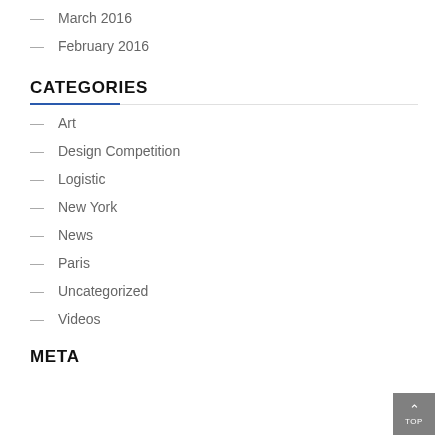— March 2016
— February 2016
CATEGORIES
— Art
— Design Competition
— Logistic
— New York
— News
— Paris
— Uncategorized
— Videos
META